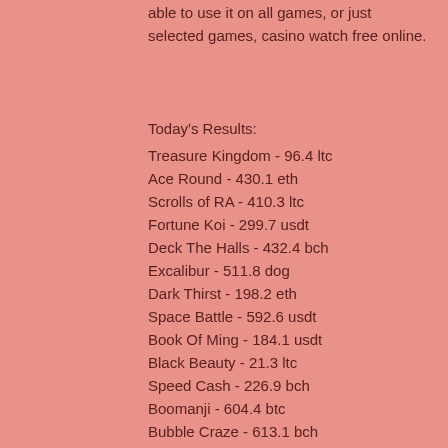able to use it on all games, or just selected games, casino watch free online.
Today's Results:
Treasure Kingdom - 96.4 ltc
Ace Round - 430.1 eth
Scrolls of RA - 410.3 ltc
Fortune Koi - 299.7 usdt
Deck The Halls - 432.4 bch
Excalibur - 511.8 dog
Dark Thirst - 198.2 eth
Space Battle - 592.6 usdt
Book Of Ming - 184.1 usdt
Black Beauty - 21.3 ltc
Speed Cash - 226.9 bch
Boomanji - 604.4 btc
Bubble Craze - 613.1 bch
Greedy Goblins - 405.4 eth
Cashville - 643.2 usdt
Videoslots, card and board games: